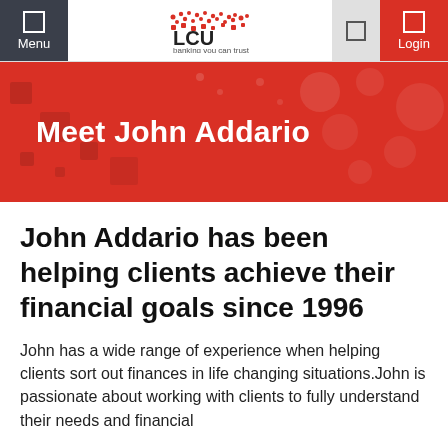Menu | LCU banking you can trust | Login
Meet John Addario
John Addario has been helping clients achieve their financial goals since 1996
John has a wide range of experience when helping clients sort out finances in life changing situations.John is passionate about working with clients to fully understand their needs and financial